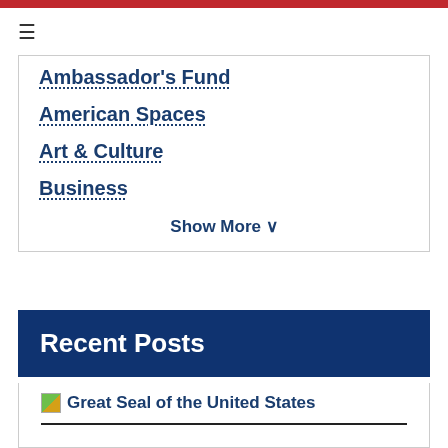Ambassador's Fund
American Spaces
Art & Culture
Business
Show More V
Recent Posts
Great Seal of the United States